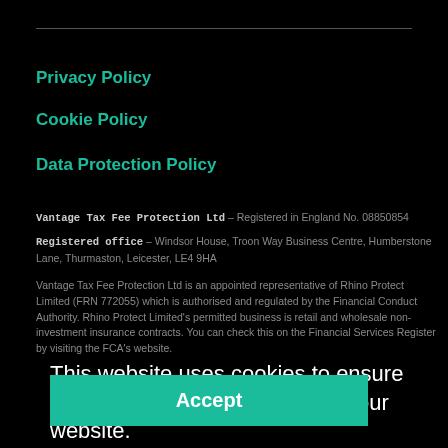Privacy Policy
Cookie Policy
Data Protection Policy
Vantage Tax Fee Protection Ltd – Registered in England No. 08850854
Registered office – Windsor House, Troon Way Business Centre, Humberstone Lane, Thurmaston, Leicester, LE4 9HA
Vantage Tax Fee Protection Ltd is an appointed representative of Rhino Protect Limited (FRN 772055) which is authorised and regulated by the Financial Conduct Authority. Rhino Protect Limited's permitted business is retail and wholesale non-investment insurance contracts. You can check this on the Financial Services Register by visiting the FCA's website.
This website uses cookies to ensure you get the best experience on our website.
Learn more
Accept